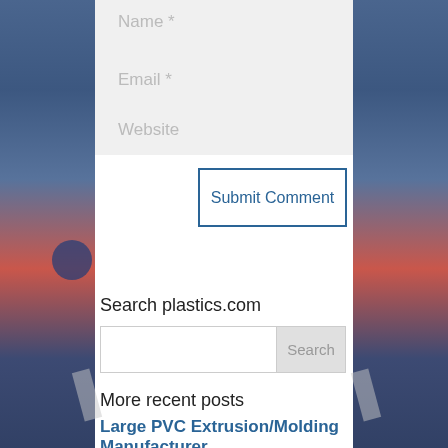Name *
Email *
Website
Submit Comment
Search plastics.com
Search
More recent posts
Large PVC Extrusion/Molding Manufacturer